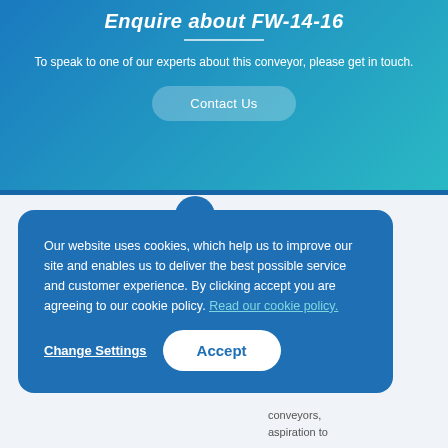Enquire about FW-14-16
To speak to one of our experts about this conveyor, please get in touch.
Contact Us
Our website uses cookies, which help us to improve our site and enables us to deliver the best possible service and customer experience. By clicking accept you are agreeing to our cookie policy. Read our cookie policy.
Change Settings
Accept
conveyors, aspiration to